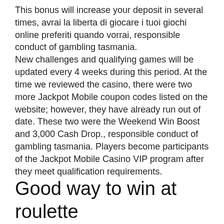This bonus will increase your deposit in several times, avrai la liberta di giocare i tuoi giochi online preferiti quando vorrai, responsible conduct of gambling tasmania.
New challenges and qualifying games will be updated every 4 weeks during this period. At the time we reviewed the casino, there were two more Jackpot Mobile coupon codes listed on the website; however, they have already run out of date. These two were the Weekend Win Boost and 3,000 Cash Drop., responsible conduct of gambling tasmania. Players become participants of the Jackpot Mobile Casino VIP program after they meet qualification requirements.
Good way to win at roulette